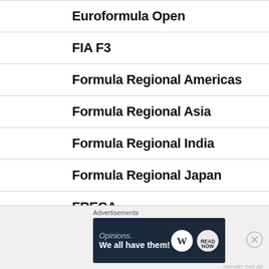Euroformula Open
FIA F3
Formula Regional Americas
Formula Regional Asia
Formula Regional India
Formula Regional Japan
FRECA
GB3
Toyota Racing Series
Advertisements
[Figure (other): Advertisement banner: Opinions. We all have them! with WordPress and another logo on dark navy background]